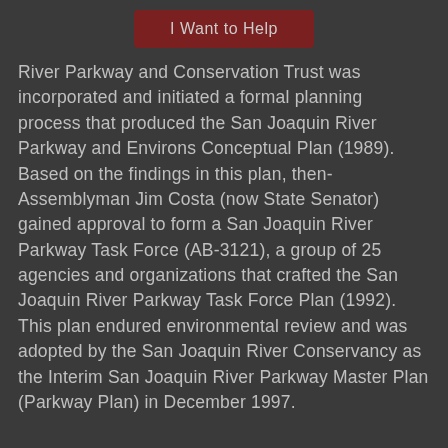[Figure (other): Button labeled 'I Want to Help' with dark red background]
River Parkway and Conservation Trust was incorporated and initiated a formal planning process that produced the San Joaquin River Parkway and Environs Conceptual Plan (1989). Based on the findings in this plan, then-Assemblyman Jim Costa (now State Senator) gained approval to form a San Joaquin River Parkway Task Force (AB-3121), a group of 25 agencies and organizations that crafted the San Joaquin River Parkway Task Force Plan (1992). This plan endured environmental review and was adopted by the San Joaquin River Conservancy as the Interim San Joaquin River Parkway Master Plan (Parkway Plan) in December 1997.